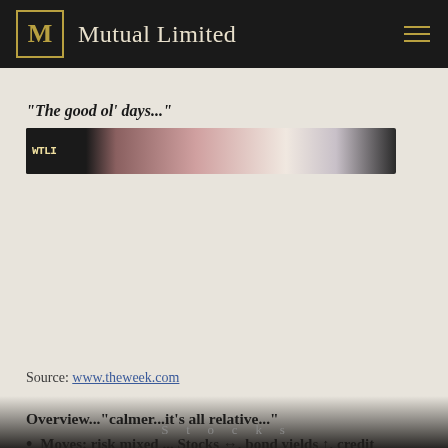Mutual Limited
“The good ol’ days...”
[Figure (photo): A blurred horizontal image appearing to show a newspaper or magazine headline, partially obscured.]
Source: www.theweek.com
Overview...“calmer...it’s all relative...”
Moves: risk mixed ... Stocks →, bond yields ↑, credit spreads